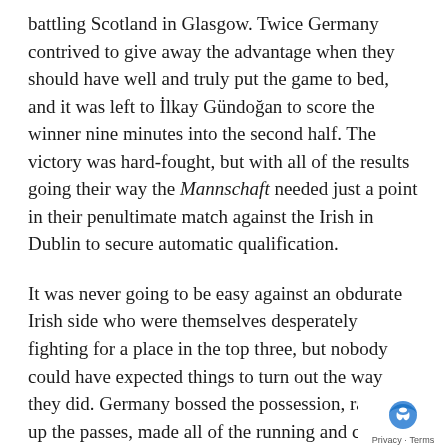battling Scotland in Glasgow. Twice Germany contrived to give away the advantage when they should have well and truly put the game to bed, and it was left to İlkay Gündoğan to score the winner nine minutes into the second half. The victory was hard-fought, but with all of the results going their way the Mannschaft needed just a point in their penultimate match against the Irish in Dublin to secure automatic qualification.
It was never going to be easy against an obdurate Irish side who were themselves desperately fighting for a place in the top three, but nobody could have expected things to turn out the way they did. Germany bossed the possession, racked up the passes, made all of the running and created the chances, but once again they were unable to find the back of the net. Then, with what was their first real attack, the Irish took advantage of a static German defence to score a stunning winner twenty minutes from time. It was simple but effective